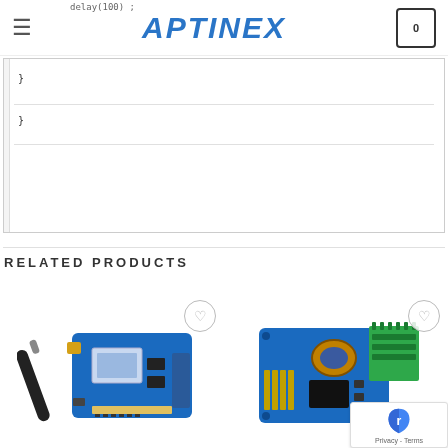APTINEX
delay(100);
    }
}
RELATED PRODUCTS
[Figure (photo): Blue Arduino-compatible wireless module board with external antenna and ribbon cable connector]
[Figure (photo): Blue PCB motor driver or sensor board with green terminal blocks and header pins]